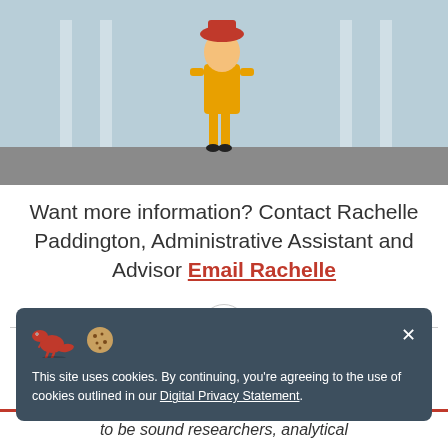[Figure (illustration): Animated character in yellow outfit and red hat standing on a grey floor against a light blue background]
Want more information? Contact Rachelle Paddington, Administrative Assistant and Advisor Email Rachelle
[Figure (other): Horizontal divider line with a push-pin icon in a circle in the center]
This site uses cookies. By continuing, you're agreeing to the use of cookies outlined in our Digital Privacy Statement.
to be sound researchers, analytical